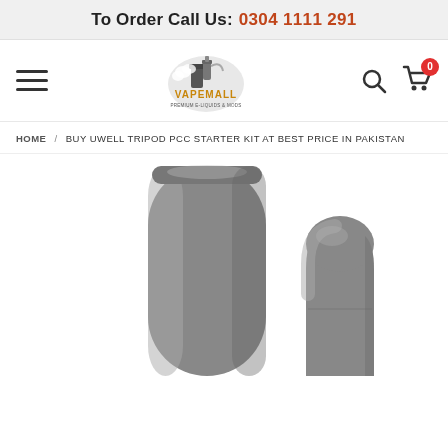To Order Call Us: 0304 1111 291
[Figure (logo): VapeMall logo with vaping equipment illustration and text 'VAPEMALL PREMIUM E-LIQUIDS & MODS']
HOME / BUY UWELL TRIPOD PCC STARTER KIT AT BEST PRICE IN PAKISTAN
[Figure (photo): Product photo showing Uwell Tripod PCC Starter Kit - a tall cylindrical grey device (battery case) on the left and a smaller grey pod device on the right, both on white background]